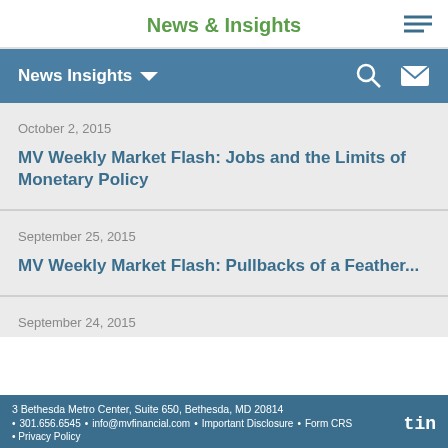News & Insights
News Insights
October 2, 2015
MV Weekly Market Flash: Jobs and the Limits of Monetary Policy
September 25, 2015
MV Weekly Market Flash: Pullbacks of a Feather...
September 24, 2015
3 Bethesda Metro Center, Suite 650, Bethesda, MD 20814 • 301.656.6545 • info@mvfinancial.com • Important Disclosure • Form CRS • Privacy Policy